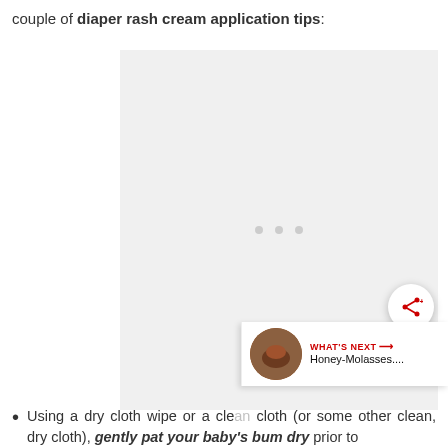couple of diaper rash cream application tips:
[Figure (photo): Image placeholder with loading dots, showing a light gray background with three small gray circles in the center indicating a loading state]
Using a dry cloth wipe or a clean cloth (or some other clean, dry cloth), gently pat your baby's bum dry prior to